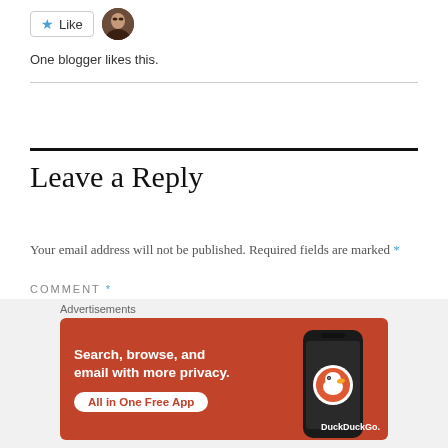[Figure (other): Like button with star icon and blogger avatar photo]
One blogger likes this.
Leave a Reply
Your email address will not be published. Required fields are marked *
COMMENT *
[Figure (infographic): DuckDuckGo advertisement banner: Search, browse, and email with more privacy. All in One Free App. Shows DuckDuckGo logo on a phone mockup on orange/red background.]